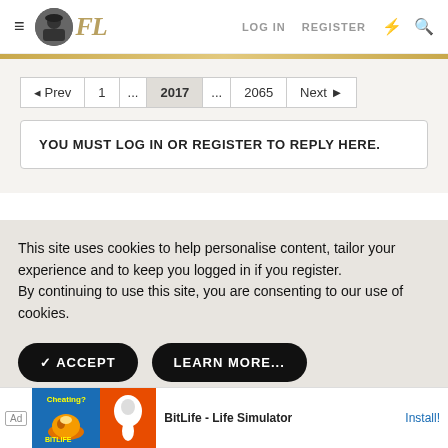≡  FL  LOG IN  REGISTER
◄ Prev  1  ...  2017  ...  2065  Next ►
YOU MUST LOG IN OR REGISTER TO REPLY HERE.
This site uses cookies to help personalise content, tailor your experience and to keep you logged in if you register.
By continuing to use this site, you are consenting to our use of cookies.
✓ ACCEPT    LEARN MORE...
Ad  BitLife - Life Simulator  Install!